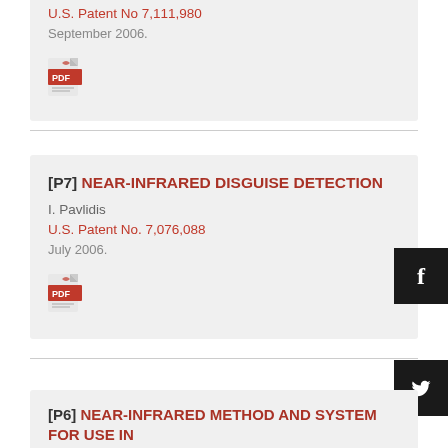U.S. Patent No 7,111,980
September 2006.
[Figure (other): PDF icon link]
[P7] NEAR-INFRARED DISGUISE DETECTION
I. Pavlidis
U.S. Patent No. 7,076,088
July 2006.
[Figure (other): PDF icon link]
[P6] NEAR-INFRARED METHOD AND SYSTEM FOR USE IN FACE DETECTION